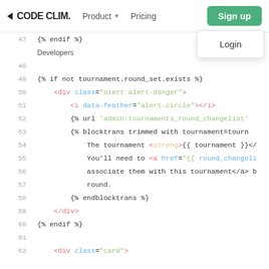CODE CLIM. | Product | Pricing | Sign up | Login
[Figure (screenshot): Code editor / syntax-highlighted HTML/template code, lines 47-62+, with a navigation header showing CODE CLIM. logo, Product dropdown, Pricing, Sign up button, and Login dropdown item.]